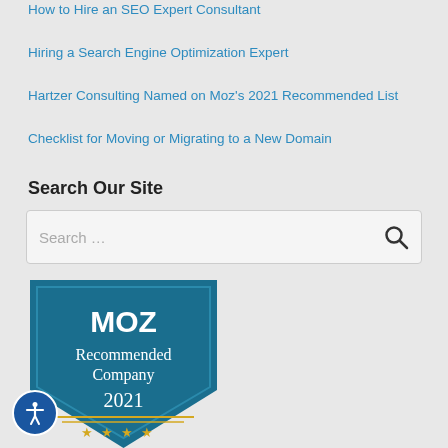How to Hire an SEO Expert Consultant
Hiring a Search Engine Optimization Expert
Hartzer Consulting Named on Moz's 2021 Recommended List
Checklist for Moving or Migrating to a New Domain
Search Our Site
[Figure (screenshot): Search input box with placeholder text 'Search ...' and a search icon button on the right]
[Figure (logo): MOZ Recommended Company 2021 badge - a teal shield shape with MOZ logo at top, 'Recommended Company' text in middle, '2021' below, and gold stars at bottom]